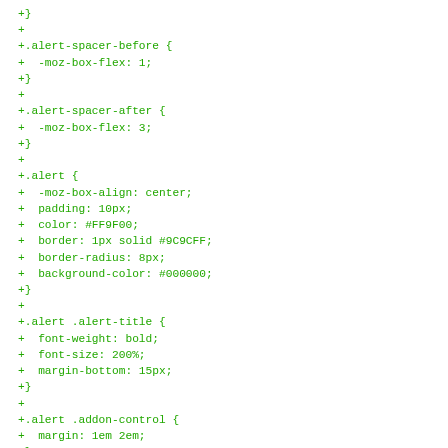+}
+
+.alert-spacer-before {
+  -moz-box-flex: 1;
+}
+
+.alert-spacer-after {
+  -moz-box-flex: 3;
+}
+
+.alert {
+  -moz-box-align: center;
+  padding: 10px;
+  color: #FF9F00;
+  border: 1px solid #9C9CFF;
+  border-radius: 8px;
+  background-color: #000000;
+}
+
+.alert .alert-title {
+  font-weight: bold;
+  font-size: 200%;
+  margin-bottom: 15px;
+}
+
+.alert .addon-control {
+  margin: 1em 2em;
+}
+
+.loading {
+  list-style-image: url("chrome://global/skin/icons/loading
+  padding-left: 20px;